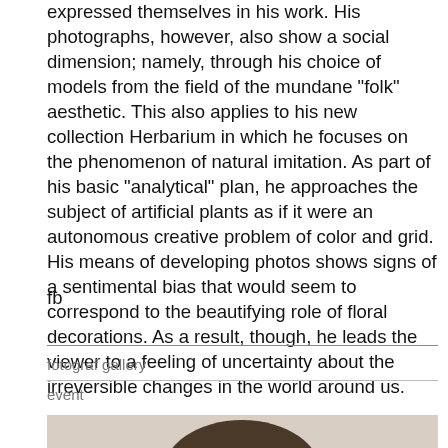expressed themselves in his work. His photographs, however, also show a social dimension; namely, through his choice of models from the field of the mundane “folk” aesthetic. This also applies to his new collection Herbarium in which he focuses on the phenomenon of natural imitation. As part of his basic “analytical” plan, he approaches the subject of artificial plants as if it were an autonomous creative problem of color and grid. His means of developing photos shows signs of a sentimental bias that would seem to correspond to the beautifying role of floral decorations. As a result, though, he leads the viewer to a feeling of uncertainty about the irreversible changes in the world around us.
fb
fotograf gallery
event
[Figure (photo): Close-up photograph of a person's head/face from above, showing dark grey hair against a light background]